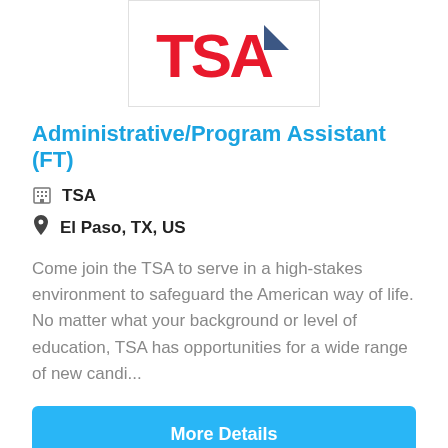[Figure (logo): TSA (Transportation Security Administration) logo — red letters TSA with a directional arrow icon, partially cropped at top]
Administrative/Program Assistant (FT)
TSA
El Paso, TX, US
Come join the TSA to serve in a high-stakes environment to safeguard the American way of life. No matter what your background or level of education, TSA has opportunities for a wide range of new candi...
More Details
NEW
[Figure (logo): Hilton hotel logo — blue circular H emblem above the word Hilton in dark blue serif font]